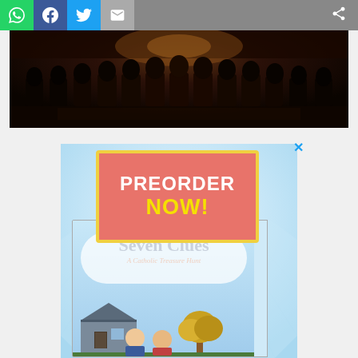[Figure (screenshot): Social media share bar with WhatsApp (green), Facebook (blue), Twitter (light blue), Email (grey) buttons and a share icon on the right on grey background]
[Figure (photo): Dark interior photo of what appears to be a church or auditorium with chairs/pews visible in dim warm lighting]
[Figure (illustration): Book advertisement for 'Seven Clues: A Catholic Treasure Hunt' by Scott Hahn and Maura Roan McKeegan. Shows PREORDER NOW! text in pink box with yellow border, and the book cover featuring two cartoon boys in front of a building with a tree.]